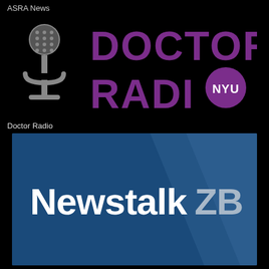ASRA News
[Figure (logo): Doctor Radio NYU logo: grey microphone icon on left, purple text 'DOCTOR RADIO' with purple circle containing 'NYU' text on black background]
Doctor Radio
[Figure (logo): NewstalkZB logo: white bold text 'Newstalk' followed by grey 'ZB' on dark blue background with diagonal lighter blue stripe]